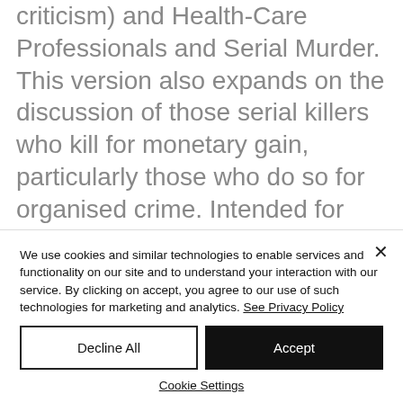criticism) and Health-Care Professionals and Serial Murder. This version also expands on the discussion of those serial killers who kill for monetary gain, particularly those who do so for organised crime. Intended for use as a supplementary text for relatable university courses, the authors include numerous end-
We use cookies and similar technologies to enable services and functionality on our site and to understand your interaction with our service. By clicking on accept, you agree to our use of such technologies for marketing and analytics. See Privacy Policy
Decline All
Accept
Cookie Settings